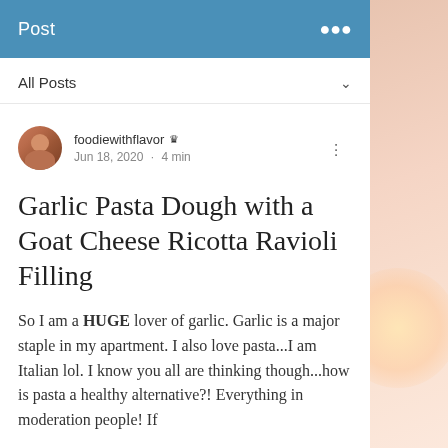Post
All Posts
foodiewithflavor 👑 Jun 18, 2020 · 4 min
Garlic Pasta Dough with a Goat Cheese Ricotta Ravioli Filling
So I am a HUGE lover of garlic. Garlic is a major staple in my apartment. I also love pasta...I am Italian lol. I know you all are thinking though...how is pasta a healthy alternative?! Everything in moderation people! If